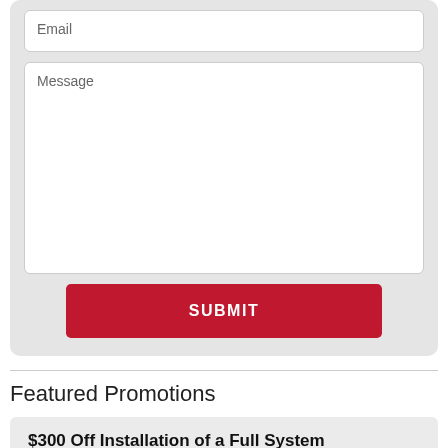[Figure (screenshot): Email input field inside a gray form card]
[Figure (screenshot): Message textarea input field inside a gray form card]
SUBMIT
Featured Promotions
$300 Off Installation of a Full System
A/C, Coil & Furnace or Heat Pump